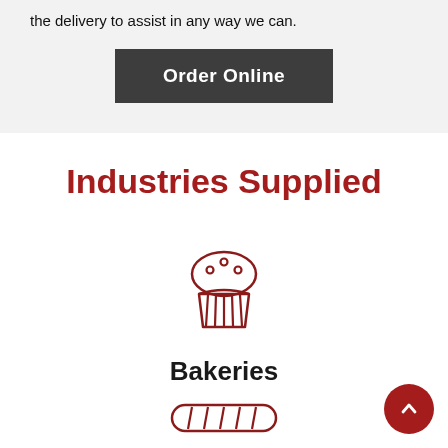the delivery to assist in any way we can.
Order Online
Industries Supplied
[Figure (illustration): Red outline icon of a muffin/cupcake]
Bakeries
[Figure (illustration): Red outline icon of a baguette/bread loaf, partially visible]